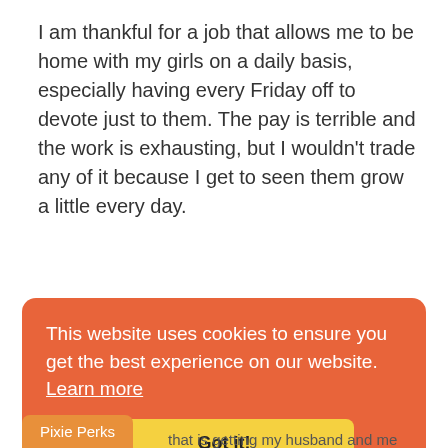I am thankful for a job that allows me to be home with my girls on a daily basis, especially having every Friday off to devote just to them. The pay is terrible and the work is exhausting, but I wouldn't trade any of it because I get to seen them grow a little every day.
[Figure (logo): Blue circular power/refresh logo icon]
This website uses cookies to ensure you get the best experience on our website. Learn more
Got it!
Pixie Perks
that is getting my husband and me